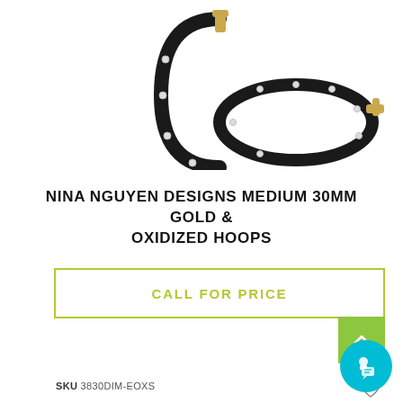[Figure (photo): Two black oxidized hoop earrings with gold accents and small diamond/crystal studs, one shown partially and one shown as a full hoop, on white background]
NINA NGUYEN DESIGNS MEDIUM 30MM GOLD & OXIDIZED HOOPS
CALL FOR PRICE
SKU 3830DIM-EOXS